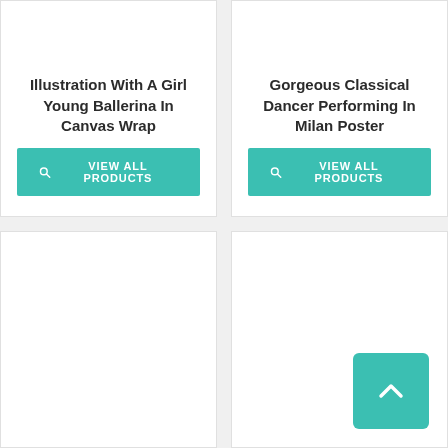[Figure (other): Product card with image placeholder for 'Illustration With A Girl Young Ballerina In Canvas Wrap', with a teal 'View All Products' button]
[Figure (other): Product card with image placeholder for 'Gorgeous Classical Dancer Performing In Milan Poster', with a teal 'View All Products' button]
[Figure (other): Product card with image placeholder, bottom-left, no title or button visible]
[Figure (other): Product card with image placeholder, bottom-right, with a teal upward chevron/back-to-top button]